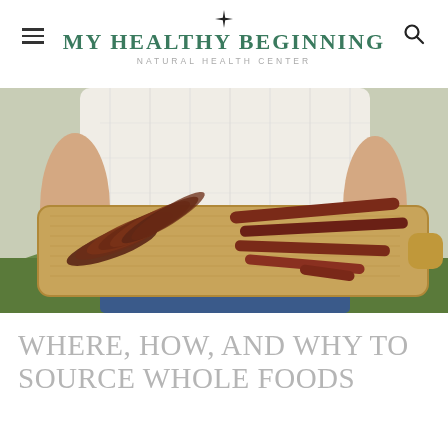MY HEALTHY BEGINNING
NATURAL HEALTH CENTER
[Figure (photo): Person holding a wooden cutting board with sliced meat and sausage sticks outdoors]
WHERE, HOW, AND WHY TO SOURCE WHOLE FOODS